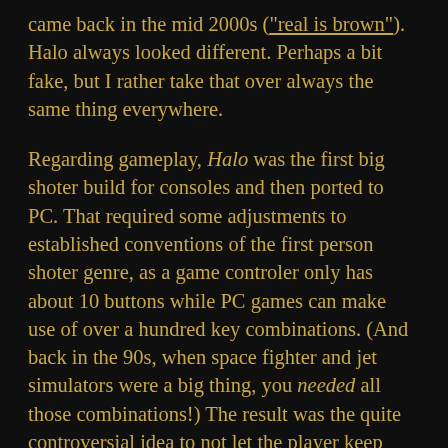came back in the mid 2000s ("real is brown"). Halo always looked different. Perhaps a bit fake, but I rather take that over always the same thing everywhere.

Regarding gameplay, Halo was the first big shoter build for consoles and then ported to PC. That required some adjustments to established conventions of the first person shoter genre, as a game controler only has about 10 buttons while PC games can make use of over a hundred key combinations. (And back in the 90s, when space fighter and jet simulators were a big thing, you needed all those combinations!) The result was the quite controversial idea to not let the player keep every gun he found